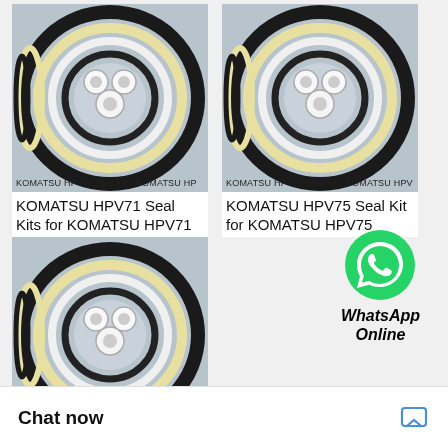[Figure (photo): KOMATSU HPV71 seal kit product photo showing rubber seals and O-rings in a circular arrangement on a tray, with watermark text]
[Figure (photo): KOMATSU HPV75 seal kit product photo showing rubber seals and O-rings in a circular arrangement on a tray, with watermark text]
KOMATSU HPV71 Seal Kits for KOMATSU HPV71
KOMATSU HPV75 Seal Kit for KOMATSU HPV75
[Figure (photo): Third KOMATSU HPV seal kit product photo showing rubber seals and O-rings in a circular arrangement on a tray, with watermark text and partial view]
[Figure (logo): WhatsApp green phone icon logo]
WhatsApp Online
Hello, how may I help you?
Chat now